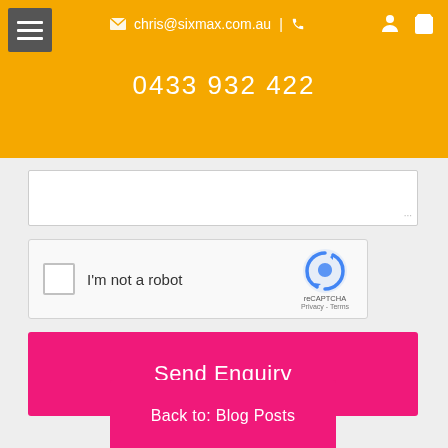chris@sixmax.com.au | 0433 932 422
[Figure (screenshot): reCAPTCHA widget with checkbox labeled 'I'm not a robot', reCAPTCHA logo and 'Privacy - Terms' text]
Send Enquiry
Back to: Blog Posts